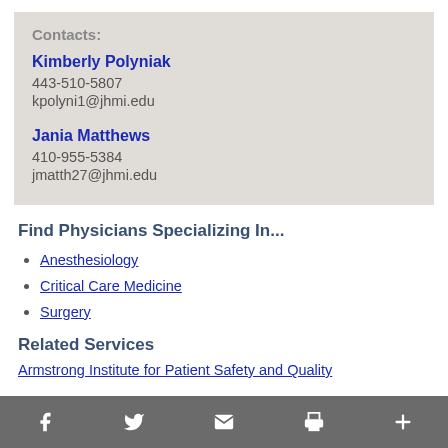Contacts:
Kimberly Polyniak
443-510-5807
kpolyni1@jhmi.edu
Jania Matthews
410-955-5384
jmatth27@jhmi.edu
Find Physicians Specializing In...
Anesthesiology
Critical Care Medicine
Surgery
Related Services
Armstrong Institute for Patient Safety and Quality